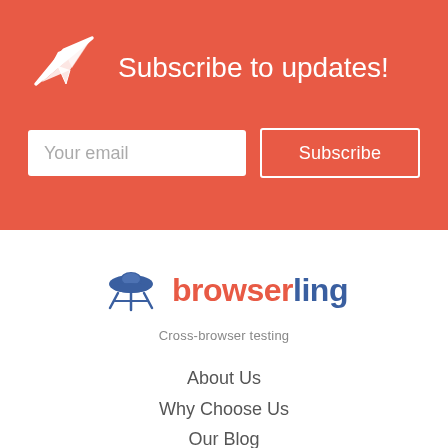[Figure (illustration): White paper plane / send icon on red background]
Subscribe to updates!
Your email
Subscribe
[Figure (logo): Browserling UFO logo with text 'browserling']
Cross-browser testing
About Us
Why Choose Us
Our Blog
Contact Us